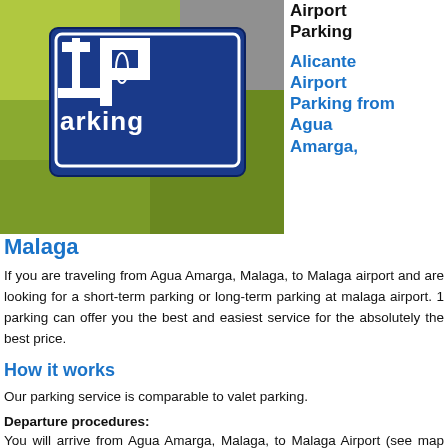[Figure (photo): Person wearing a yellow/green high-visibility vest with a blue parking sign showing '1Parking' logo]
Airport Parking
Alicante Airport Parking from Agua Amarga, Malaga
If you are traveling from Agua Amarga, Malaga, to Malaga airport and are looking for a short-term parking or long-term parking at malaga airport. 1 parking can offer you the best and easiest service for the absolutely the best price.
How it works
Our parking service is comparable to valet parking.
Departure procedures:
You will arrive from Agua Amarga, Malaga, to Malaga Airport (see map instructions below)
You have...